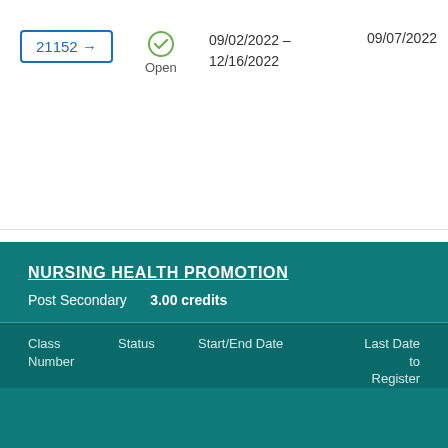21152 →
Open
09/02/2022 - 12/16/2022
09/07/2022
NURSING HEALTH PROMOTION
Post Secondary    3.00 credits
| Class Number | Status | Start/End Date | Last Date to Register |
| --- | --- | --- | --- |